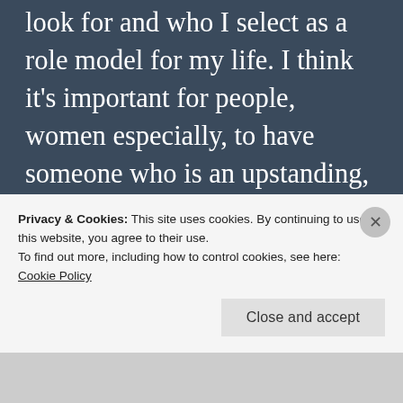look for and who I select as a role model for my life. I think it's important for people, women especially, to have someone who is an upstanding, respectable example of the lives we want to lead. Now, I'm not saying that there aren't people from older stories who could be role models (I frequently look to Joan of Arc, personally). The problem with using people from the past is that
Privacy & Cookies: This site uses cookies. By continuing to use this website, you agree to their use.
To find out more, including how to control cookies, see here: Cookie Policy
Close and accept